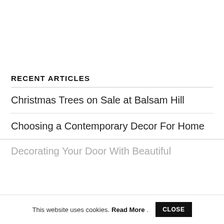RECENT ARTICLES
Christmas Trees on Sale at Balsam Hill
Choosing a Contemporary Decor For Home
Decorating Your Door With Beautiful
This website uses cookies. Read More. CLOSE